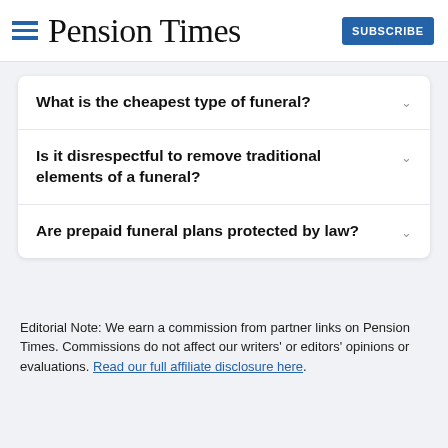Pension Times | SUBSCRIBE
What is the cheapest type of funeral?
Is it disrespectful to remove traditional elements of a funeral?
Are prepaid funeral plans protected by law?
Editorial Note: We earn a commission from partner links on Pension Times. Commissions do not affect our writers' or editors' opinions or evaluations. Read our full affiliate disclosure here.